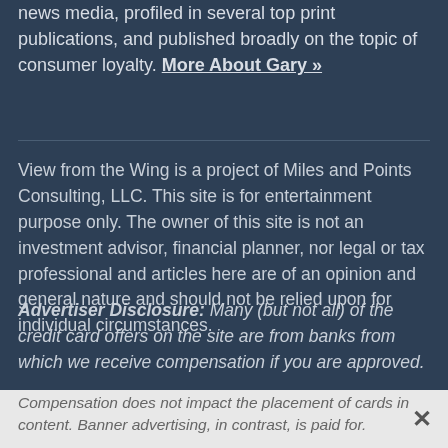news media, profiled in several top print publications, and published broadly on the topic of consumer loyalty. More About Gary »
View from the Wing is a project of Miles and Points Consulting, LLC. This site is for entertainment purpose only. The owner of this site is not an investment advisor, financial planner, nor legal or tax professional and articles here are of an opinion and general nature and should not be relied upon for individual circumstances.
Advertiser Disclosure: Many (but not all) of the credit card offers on the site are from banks from which we receive compensation if you are approved.
Compensation does not impact the placement of cards in content. Banner advertising, in contrast, is paid for.